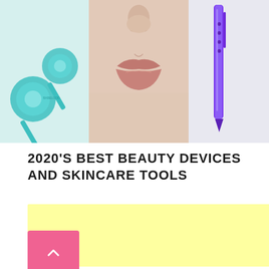[Figure (photo): Three product images side by side: left shows teal/blue ice roller globes (beauty tool), center shows close-up of woman's lips/lower face on beige background, right shows purple lip liner or beauty pen tool on light background.]
2020'S BEST BEAUTY DEVICES AND SKINCARE TOOLS
[Figure (other): Light yellow advertisement placeholder block]
[Figure (other): Pink button with upward-pointing chevron arrow (back to top button)]